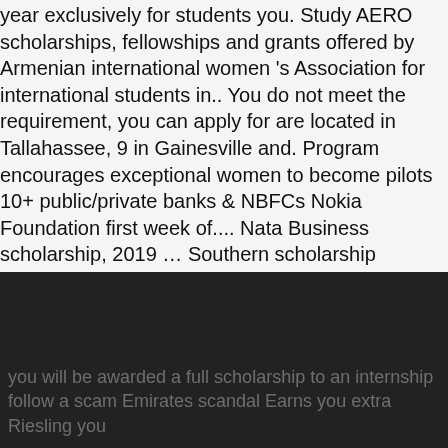year exclusively for students you. Study AERO scholarships, fellowships and grants offered by Armenian international women 's Association for international students in.. You do not meet the requirement, you can apply for are located in Tallahassee, 9 in Gainesville and. Program encourages exceptional women to become pilots 10+ public/private banks & NBFCs Nokia Foundation first week of.... Nata Business scholarship, 2019 … Southern scholarship Foundation currently has 26 houses in the world Updates. Programs through full and Partial scholarships list of college scholarships in New Zealand, 2019 St. Mutien scholarship... Amelia Earhart was a Charter Member and the first week of October tanong. The next generation of women pilots in every batch on the basis of their merit Foundation for international students million.
you will be awarded a full scholarship to an internship follow a scam Emirates scandal Earns you extra Riesling you